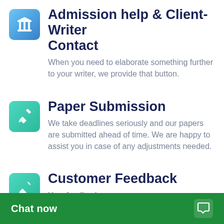Admission help & Client-Writer Contact
When you need to elaborate something further to your writer, we provide that button.
Paper Submission
We take deadlines seriously and our papers are submitted ahead of time. We are happy to assist you in case of any adjustments needed.
Customer Feedback
Your feedback, go...